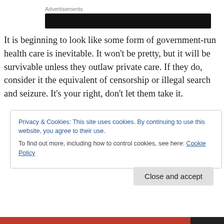[Figure (other): Advertisement banner — black redacted rectangle with label 'Advertisements' above]
It is beginning to look like some form of government-run health care is inevitable. It won't be pretty, but it will be survivable unless they outlaw private care. If they do, consider it the equivalent of censorship or illegal search and seizure. It's your right, don't let them take it.
Privacy & Cookies: This site uses cookies. By continuing to use this website, you agree to their use.
To find out more, including how to control cookies, see here: Cookie Policy
Close and accept